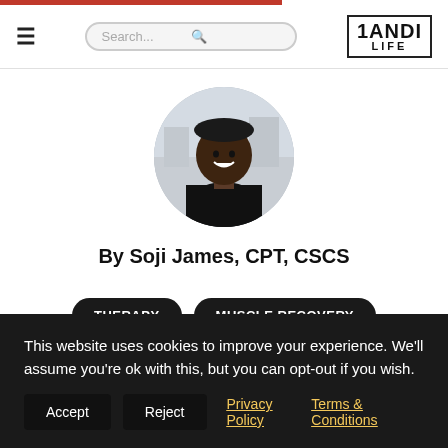1ANDI LIFE — navigation with search and logo
[Figure (photo): Circular profile photo of Soji James, a smiling man in a black fitted shirt, outdoors in an urban setting]
By Soji James, CPT, CSCS
THERAPY
MUSCLE RECOVERY
This website uses cookies to improve your experience. We'll assume you're ok with this, but you can opt-out if you wish.
Accept  Reject  Privacy Policy  Terms & Conditions